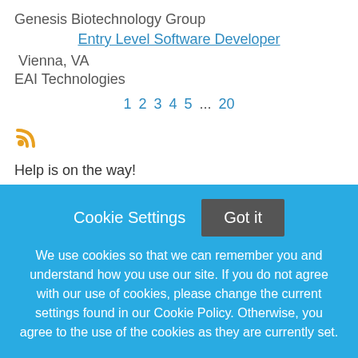Genesis Biotechnology Group
Entry Level Software Developer
Vienna, VA
EAI Technologies
1 2 3 4 5 ... 20
[Figure (infographic): RSS feed icon in orange]
Help is on the way!
We're sorry you are having trouble applying for this job.
Please refer to...
Cookie Settings
Got it
We use cookies so that we can remember you and understand how you use our site. If you do not agree with our use of cookies, please change the current settings found in our Cookie Policy. Otherwise, you agree to the use of the cookies as they are currently set.